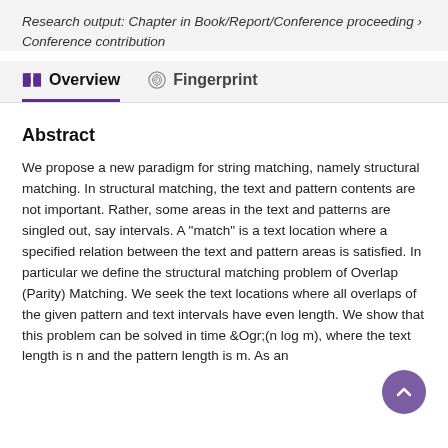Research output: Chapter in Book/Report/Conference proceeding › Conference contribution
Overview
Fingerprint
Abstract
We propose a new paradigm for string matching, namely structural matching. In structural matching, the text and pattern contents are not important. Rather, some areas in the text and patterns are singled out, say intervals. A "match" is a text location where a specified relation between the text and pattern areas is satisfied. In particular we define the structural matching problem of Overlap (Parity) Matching. We seek the text locations where all overlaps of the given pattern and text intervals have even length. We show that this problem can be solved in time &Ogr;(n log m), where the text length is n and the pattern length is m. As an